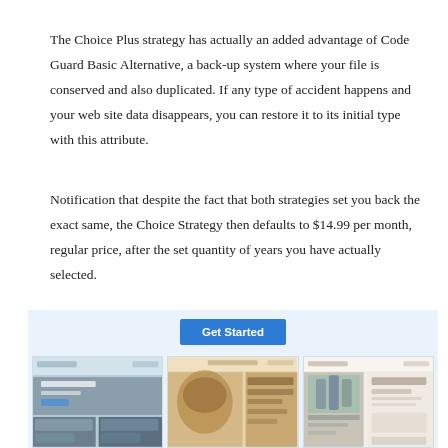The Choice Plus strategy has actually an added advantage of Code Guard Basic Alternative, a back-up system where your file is conserved and also duplicated. If any type of accident happens and your web site data disappears, you can restore it to its initial type with this attribute.
Notification that despite the fact that both strategies set you back the exact same, the Choice Strategy then defaults to $14.99 per month, regular price, after the set quantity of years you have actually selected.
[Figure (screenshot): Website builder screenshots showing multiple website templates in a grid layout, with a blue 'Get Started' button at the top center. Templates include a hotel/architecture site, a hat/fashion site (ARIA), a surf shop, a nature/travel site, an ocean/waves site, and a dark food/restaurant site.]